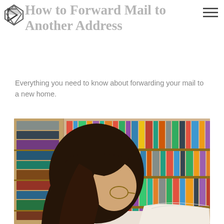How to Forward Mail to Another Address
Everything you need to know about forwarding your mail to a new home.
[Figure (photo): A woman with dark hair and glasses reading a book in a library, surrounded by colorful bookshelves in the background.]